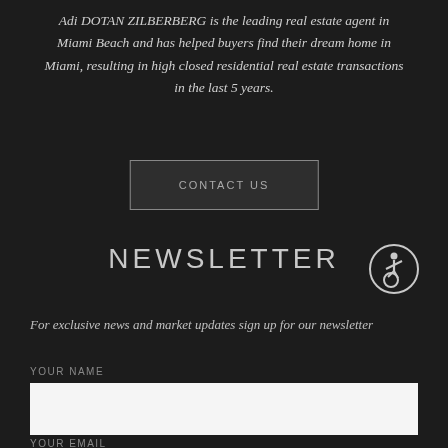Adi DOTAN ZILBERBERG is the leading real estate agent in Miami Beach and has helped buyers find their dream home in Miami, resulting in high closed residential real estate transactions in the last 5 years.
CONTACT US
NEWSLETTER
For exclusive news and market updates sign up for our newsletter
YOUR NAME
YOUR EMAIL